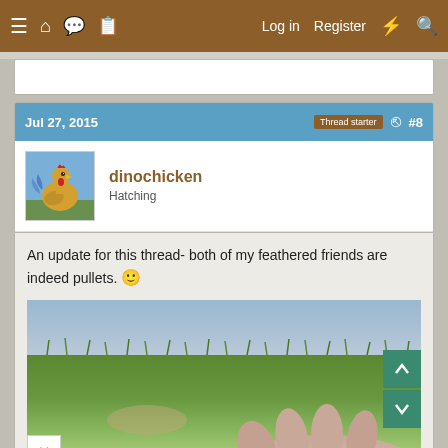≡ 🏠 💬 📄   Log in   Register   ⚡   🔍
Jul 27, 2015   Thread starter   #8
dinochicken
Hatching
An update for this thread- both of my feathered friends are indeed pullets. 🙂
[Figure (photo): Photo showing a hand holding something over a grass lawn background, partially visible with navigation scroll buttons on the right side.]